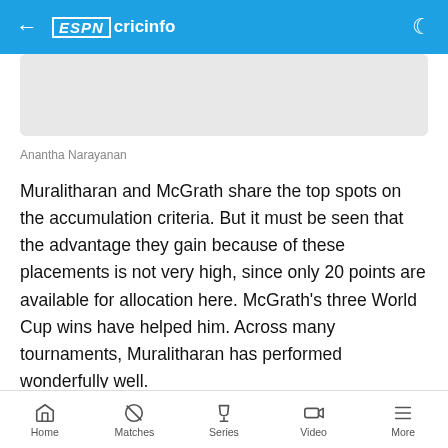ESPN cricinfo
[Figure (photo): Partially visible article image placeholder (grey rectangle)]
Anantha Narayanan
Muralitharan and McGrath share the top spots on the accumulation criteria. But it must be seen that the advantage they gain because of these placements is not very high, since only 20 points are available for allocation here. McGrath's three World Cup wins have helped him. Across many tournaments, Muralitharan has performed wonderfully well.
Starc and Garner take the top places on the spell-
Home  Matches  Series  Video  More